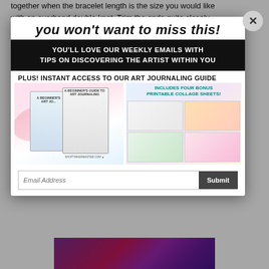together when the bracelet length is the size you would like with an overhand double knot. Trim the ends quite closely to the knot, and wear with pride!
[Figure (photo): Photo of a beaded bracelet on a purple and pink textured fabric background]
YOU WON'T WANT TO MISS THIS!
YOU'LL LOVE OUR WEEKLY EMAILS WITH TIPS ON DISCOVERING THE ARTIST WITHIN YOU
PLUS! INSTANT ACCESS TO OUR ART JOURNALING GUIDE
[Figure (illustration): Images of two art journaling guide books and four bonus printable collage sheets with text 'INCLUDES FOUR BONUS PRINTABLE COLLAGE SHEETS!']
Email Address
Submit